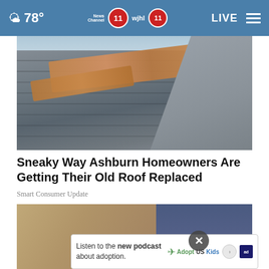78° News Channel 11 wjhl 11 LIVE
[Figure (photo): Close-up of a damaged roof with curling and missing shingles, showing exposed wooden board underneath, with a glimpse of blue sky at top]
Sneaky Way Ashburn Homeowners Are Getting Their Old Roof Replaced
Smart Consumer Update
[Figure (photo): Close-up image of a person petting or touching an animal, with jeans-clad leg visible on the right side]
Listen to the new podcast about adoption.